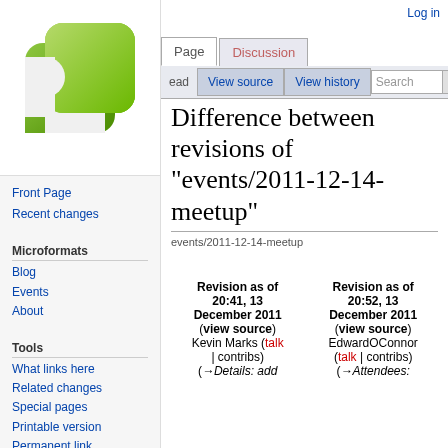[Figure (logo): Green Microformats wiki logo - two overlapping rounded squares in green gradient]
Log in
Page | Discussion | View source | View history | Search
Difference between revisions of "events/2011-12-14-meetup"
events/2011-12-14-meetup
Revision as of 20:41, 13 December 2011 (view source) Kevin Marks (talk | contribs) (→Details: add
Revision as of 20:52, 13 December 2011 (view source) EdwardOConnor (talk | contribs) (→Attendees:
Front Page
Recent changes
Microformats
Blog
Events
About
Tools
What links here
Related changes
Special pages
Printable version
Permanent link